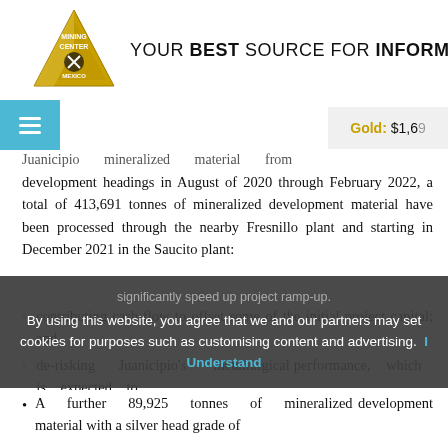[Figure (logo): Mining Center Mexico gold triangle logo with pickaxe icon]
YOUR BEST SOURCE FOR INFORMATION
Juanicipio mineralized material from development headings in August of 2020 through February 2022, a total of 413,691 tonnes of mineralized development material have been processed through the nearby Fresnillo plant and starting in December 2021 in the Saucito plant:
contributing cash-flow to offset some of the initial project capital; and
de-risking Juanicipio's metallurgical performance, which is expected to significantly speed up project ramp-up.
By using this website, you agree that we and our partners may set cookies for purposes such as customising content and advertising. I Understand
A further 89,925 tonnes of mineralized development material with a silver head grade of